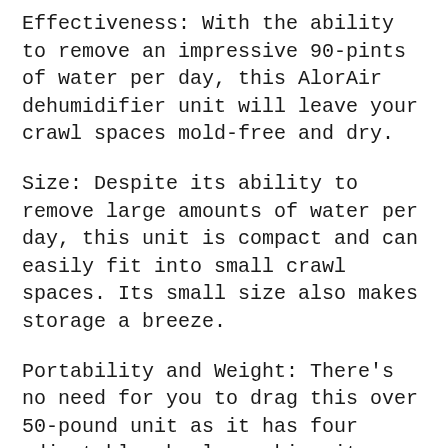Effectiveness: With the ability to remove an impressive 90-pints of water per day, this AlorAir dehumidifier unit will leave your crawl spaces mold-free and dry.
Size: Despite its ability to remove large amounts of water per day, this unit is compact and can easily fit into small crawl spaces. Its small size also makes storage a breeze.
Portability and Weight: There’s no need for you to drag this over 50-pound unit as it has four adjustable wheels, making it easy to roll across the floor.
Pump: Although the built-in condensate pump on this model can be a handy